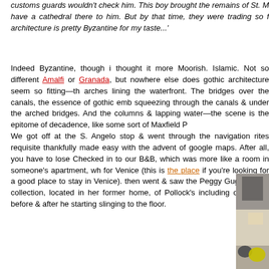customs guards wouldn't check him. This boy brought the remains of St. M have a cathedral there to him. But by that time, they were trading so f architecture is pretty Byzantine for my taste...'
Indeed Byzantine, though i thought it more Moorish. Islamic. Not so different Amalfi or Granada, but nowhere else does gothic architecture seem so fitting—th arches lining the waterfront. The bridges over the canals, the essence of gothic emb squeezing through the canals & under the arched bridges. And the columns & lapping water—the scene is the epitome of decadence, like some sort of Maxfield P
We got off at the S. Angelo stop & went through the navigation rites requisite thankfully made easy with the advent of google maps. After all, you have to lose Checked in to our B&B, which was more like a room in someone's apartment, wh for Venice (this is the place if you're looking for a good place to stay in Venice). then went & saw the Peggy Guggenheim collection, located in her former home, of Pollock's including ones right before & after he starting slinging to the floor.
[Figure (photo): A painting or artwork visible at the bottom of the page, appearing to be an abstract or semi-abstract work with geometric shapes including what appears to be yellow and dark circular/blob shapes on a light background, with grid-like dark marks in the upper portion.]